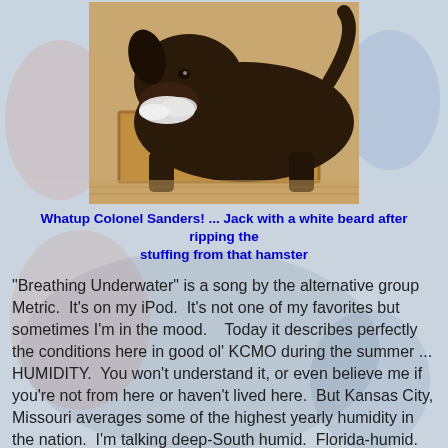[Figure (photo): A large dark brown/black dog lying on a wooden floor with what appears to be white stuffing from a destroyed stuffed animal toy around its muzzle, giving it the appearance of a white beard. The dog is indoors on a rug.]
Whatup Colonel Sanders! ... Jack with a white beard after ripping the stuffing from that hamster
"Breathing Underwater" is a song by the alternative group Metric.  It's on my iPod.  It's not one of my favorites but sometimes I'm in the mood.   Today it describes perfectly the conditions here in good ol' KCMO during the summer ... HUMIDITY.  You won't understand it, or even believe me if you're not from here or haven't lived here.  But Kansas City, Missouri averages some of the highest yearly humidity in the nation.  I'm talking deep-South humid.  Florida-humid.  Amazonia-humid.  Yep, you wouldn't know it otherwise, but this place can be miserable in the summer.  I've had a lot of friends who grew up in Atlanta, or Mississippi, or Florida and they all say Missouri is as bad or worse than those places. I